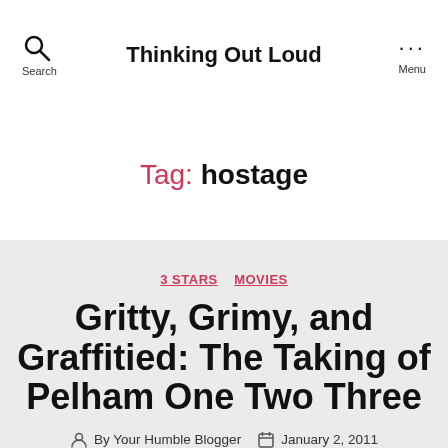Thinking Out Loud
Tag: hostage
3 STARS  MOVIES
Gritty, Grimy, and Graffitied: The Taking of Pelham One Two Three
By Your Humble Blogger  January 2, 2011
No Comments